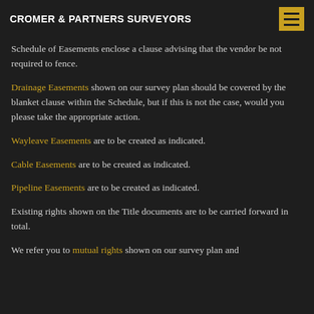CROMER & PARTNERS SURVEYORS
Schedule of Easements enclose a clause advising that the vendor be not required to fence.
Drainage Easements shown on our survey plan should be covered by the blanket clause within the Schedule, but if this is not the case, would you please take the appropriate action.
Wayleave Easements are to be created as indicated.
Cable Easements are to be created as indicated.
Pipeline Easements are to be created as indicated.
Existing rights shown on the Title documents are to be carried forward in total.
We refer you to mutual rights shown on our survey plan and